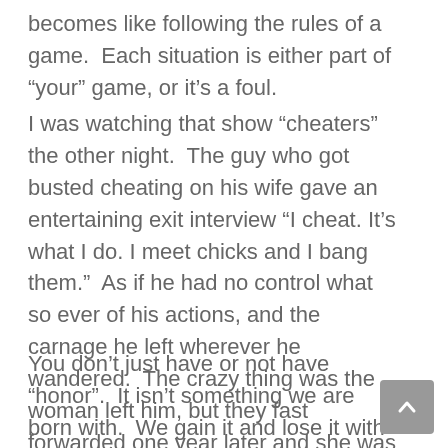becomes like following the rules of a game.  Each situation is either part of “your” game, or it’s a foul.
I was watching that show “cheaters” the other night.  The guy who got busted cheating on his wife gave an entertaining exit interview “I cheat. It’s what I do. I meet chicks and I bang them.”  As if he had no control what so ever of his actions, and the carnage he left wherever he wandered.  The crazy thing was the woman left him, but they fast forwarded one year later and she was back with him.  Crazy right?
You don’t just have or not have “honor”.  It isn’t something we are born with.  We gain it and lose it with each and every one of our actions and how it fits into our own personal code of